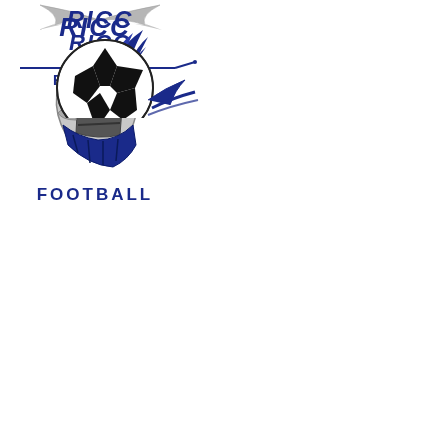[Figure (logo): RICC Fencing logo with crossed swords/foils and knight imagery, text reads RICC FENCING]
[Figure (logo): RICC Football logo with knight helmet in navy/grey, text reads RICC FOOTBALL]
[Figure (logo): RICC Soccer logo with soccer ball and motion swoosh, text reads RICC]